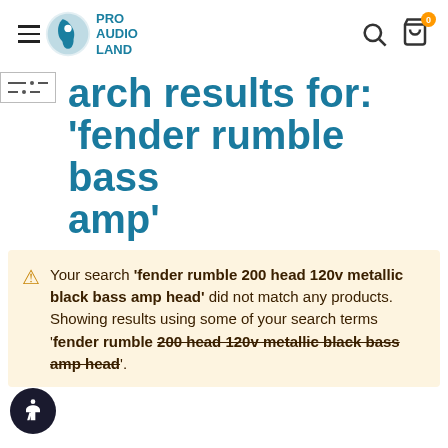Pro Audio Land — navigation header with hamburger menu, logo, search icon, and cart icon with badge 0
arch results for: 'fender rumble bass amp'
Your search 'fender rumble 200 head 120v metallic black bass amp head' did not match any products. Showing results using some of your search terms 'fender rumble 200 head 120v metallic black bass amp head'.